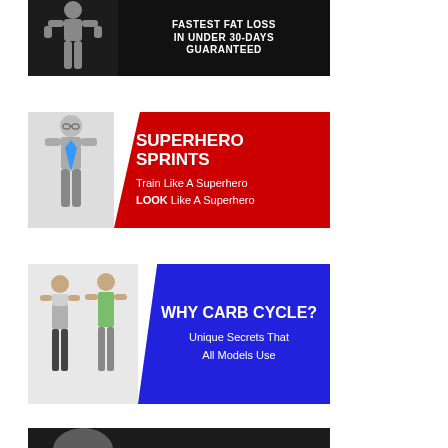[Figure (infographic): Black banner ad: muscular man silhouette on left, text on dark background: FASTEST FAT LOSS IN UNDER 30-DAYS GUARANTEED]
[Figure (infographic): Red banner ad with diagonal cut: man in shirt revealing superhero costume on left, text: SUPERHERO SPRINTS, Train Like A Superhero, LOOK Like A Superhero]
[Figure (infographic): Blue banner ad with diagonal cut: two fit women on left, text: WHY CARB CYCLE? Unique Secrets That All Models Use]
[Figure (infographic): Partial dark banner ad at bottom of page, partially cut off]